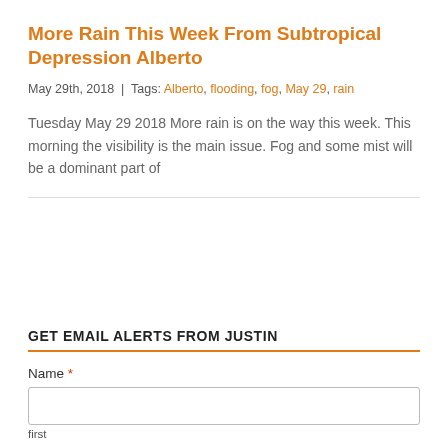More Rain This Week From Subtropical Depression Alberto
May 29th, 2018  |  Tags: Alberto, flooding, fog, May 29, rain
Tuesday May 29 2018 More rain is on the way this week. This morning the visibility is the main issue. Fog and some mist will be a dominant part of
GET EMAIL ALERTS FROM JUSTIN
Name *
first